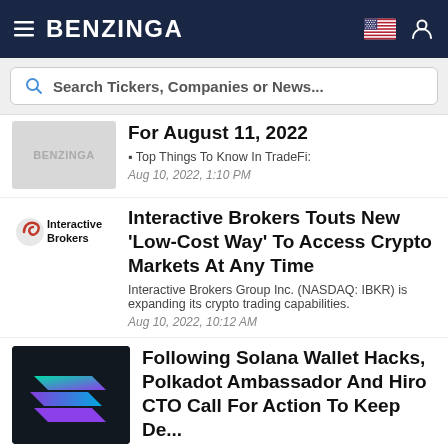BENZINGA
Search Tickers, Companies or News...
For August 11, 2022
▪ Top Things To Know In TradeFi:
Aug 10, 2022, 1:10 PM
Interactive Brokers Touts New 'Low-Cost Way' To Access Crypto Markets At Any Time
Interactive Brokers Group Inc. (NASDAQ: IBKR) is expanding its crypto trading capabilities.
Aug 10, 2022, 10:12 AM
Following Solana Wallet Hacks, Polkadot Ambassador And Hiro CTO Call For Action To Keep De...
Last week, millions of dollars were hacked from Solana's